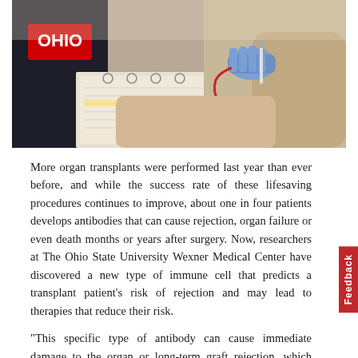[Figure (photo): A medical professional wearing blue gloves performs a procedure on a patient's arm. The patient appears to be wearing an Ohio State shirt and there are binders and paperwork on the table.]
More organ transplants were performed last year than ever before, and while the success rate of these lifesaving procedures continues to improve, about one in four patients develops antibodies that can cause rejection, organ failure or even death months or years after surgery. Now, researchers at The Ohio State University Wexner Medical Center have discovered a new type of immune cell that predicts a transplant patient's risk of rejection and may lead to therapies that reduce their risk.
“This specific type of antibody can cause immediate damage to the organ or long-term graft rejection, which means that the patient’s organ is not going to last as long,” said Dr. Ginny Bumgardner, transplant surgeon at The Ohio State University Wexner Medical Center and lead author of the study. “This cell type that we studied was very interesting because it had the